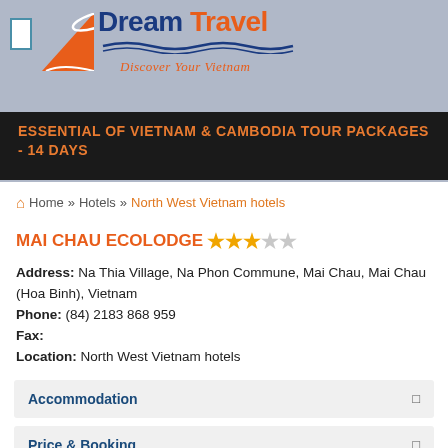[Figure (logo): Dream Travel logo with orange triangle/arrow graphic, blue 'Dream Travel' text, wavy blue lines, and italic orange tagline 'Discover Your Vietnam']
ESSENTIAL OF VIETNAM & CAMBODIA TOUR PACKAGES - 14 DAYS
Home » Hotels » North West Vietnam hotels
MAI CHAU ECOLODGE ★★★☆☆
Address: Na Thia Village, Na Phon Commune, Mai Chau, Mai Chau (Hoa Binh), Vietnam
Phone: (84) 2183 868 959
Fax:
Location: North West Vietnam hotels
Accommodation
Price & Booking
RELATED HOTELS